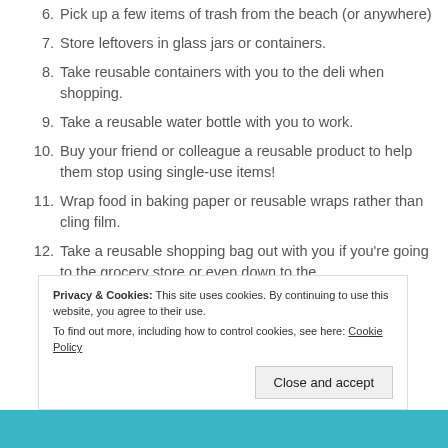6. Pick up a few items of trash from the beach (or anywhere)
7. Store leftovers in glass jars or containers.
8. Take reusable containers with you to the deli when shopping.
9. Take a reusable water bottle with you to work.
10. Buy your friend or colleague a reusable product to help them stop using single-use items!
11. Wrap food in baking paper or reusable wraps rather than cling film.
12. Take a reusable shopping bag out with you if you're going to the grocery store or even down to the
Privacy & Cookies: This site uses cookies. By continuing to use this website, you agree to their use. To find out more, including how to control cookies, see here: Cookie Policy
Close and accept